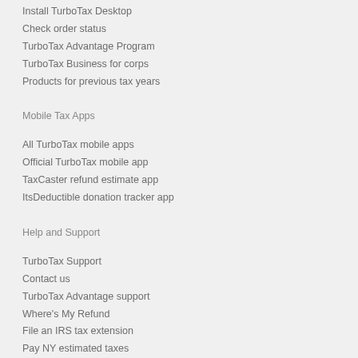Install TurboTax Desktop
Check order status
TurboTax Advantage Program
TurboTax Business for corps
Products for previous tax years
Mobile Tax Apps
All TurboTax mobile apps
Official TurboTax mobile app
TaxCaster refund estimate app
ItsDeductible donation tracker app
Help and Support
TurboTax Support
Contact us
TurboTax Advantage support
Where's My Refund
File an IRS tax extension
Pay NY estimated taxes
Getting started with TurboTax®
Refund status support